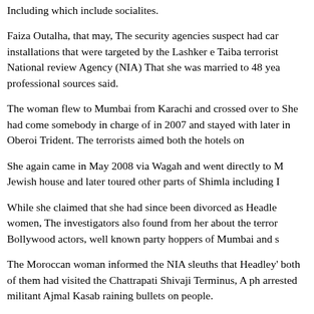Including which include socialites.
Faiza Outalha, that may, The security agencies suspect had car installations that were targeted by the Lashker e Taiba terrorist National review Agency (NIA) That she was married to 48 yea professional sources said.
The woman flew to Mumbai from Karachi and crossed over to She had come somebody in charge of in 2007 and stayed with later in Oberoi Trident. The terrorists aimed both the hotels on
She again came in May 2008 via Wagah and went directly to M Jewish house and later toured other parts of Shimla including I
While she claimed that she had since been divorced as Headle women, The investigators also found from her about the terror Bollywood actors, well known party hoppers of Mumbai and s
The Moroccan woman informed the NIA sleuths that Headley' both of them had visited the Chattrapati Shivaji Terminus, A ph arrested militant Ajmal Kasab raining bullets on people.
based on her statement, The NIA team has also quizzed as a fa The US country's, that is not (don't) A suspect in the event, Ha and had stayed in Manali and Goa with his Russian girlfriend.